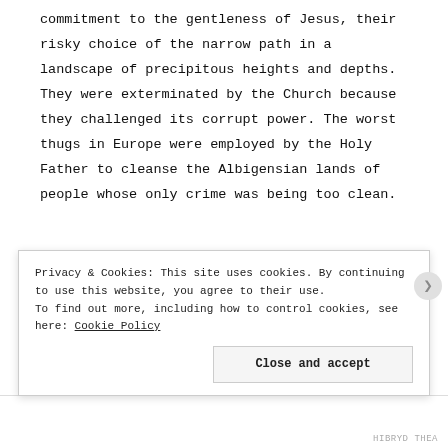commitment to the gentleness of Jesus, their risky choice of the narrow path in a landscape of precipitous heights and depths. They were exterminated by the Church because they challenged its corrupt power. The worst thugs in Europe were employed by the Holy Father to cleanse the Albigensian lands of people whose only crime was being too clean.
[Figure (photo): A dark space or nebula photograph showing a glowing orange/yellow center against a deep blue and black cosmic background with stars.]
Privacy & Cookies: This site uses cookies. By continuing to use this website, you agree to their use. To find out more, including how to control cookies, see here: Cookie Policy
Close and accept